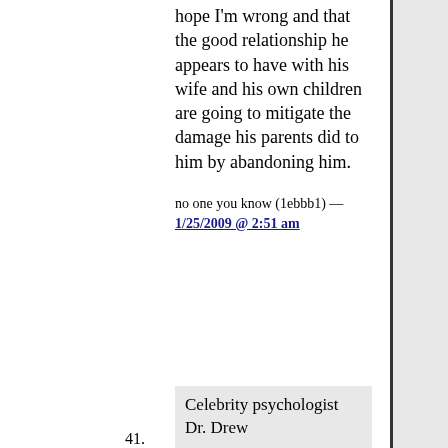I really hope I'm wrong and that the good relationship he appears to have with his wife and his own children are going to mitigate the damage his parents did to him by abandoning him.
no one you know (1ebbb1) — 1/25/2009 @ 2:51 am
41. Celebrity psychologist Dr. Drew